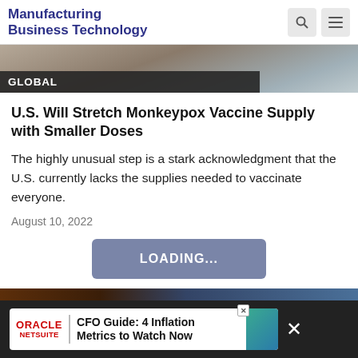Manufacturing Business Technology
[Figure (photo): Partial photo of an object with a dark overlay bar at the bottom labeled GLOBAL]
GLOBAL
U.S. Will Stretch Monkeypox Vaccine Supply with Smaller Doses
The highly unusual step is a stark acknowledgment that the U.S. currently lacks the supplies needed to vaccinate everyone.
August 10, 2022
[Figure (other): LOADING... button in muted blue-grey color]
[Figure (photo): Bottom image strip showing dark wood-toned and blue tones]
ORACLE NETSUITE | CFO Guide: 4 Inflation Metrics to Watch Now